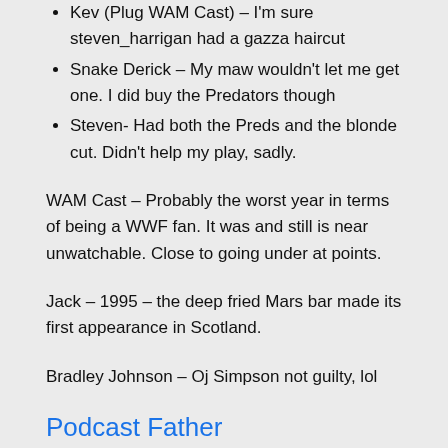Kev (Plug WAM Cast) – I'm sure steven_harrigan had a gazza haircut
Snake Derick – My maw wouldn't let me get one. I did buy the Predators though
Steven- Had both the Preds and the blonde cut. Didn't help my play, sadly.
WAM Cast – Probably the worst year in terms of being a WWF fan. It was and still is near unwatchable. Close to going under at points.
Jack – 1995 – the deep fried Mars bar made its first appearance in Scotland.
Bradley Johnson – Oj Simpson not guilty, lol
Podcast Father